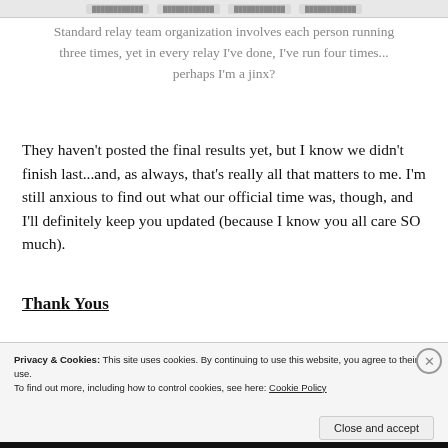[Figure (other): Navigation tab bar with four blurred/redacted tab items]
Standard relay team organization involves each person running three times, yet in every relay I've done, I've run four times... perhaps I'm a jinx?
They haven't posted the final results yet, but I know we didn't finish last...and, as always, that's really all that matters to me. I'm still anxious to find out what our official time was, though, and I'll definitely keep you updated (because I know you all care SO much).
Thank Yous
Privacy & Cookies: This site uses cookies. By continuing to use this website, you agree to their use.
To find out more, including how to control cookies, see here: Cookie Policy
Close and accept